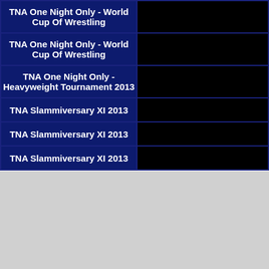| Title |  |
| --- | --- |
| TNA One Night Only - World Cup Of Wrestling |  |
| TNA One Night Only - World Cup Of Wrestling |  |
| TNA One Night Only - Heavyweight Tournament 2013 |  |
| TNA Slammiversary XI 2013 |  |
| TNA Slammiversary XI 2013 |  |
| TNA Slammiversary XI 2013 |  |
[Figure (other): Gray placeholder box in the lower portion of the page]